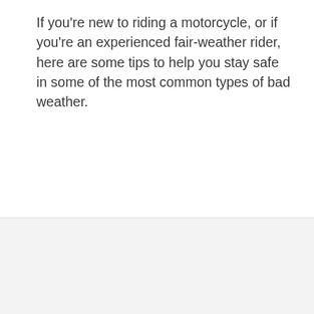If you're new to riding a motorcycle, or if you're an experienced fair-weather rider, here are some tips to help you stay safe in some of the most common types of bad weather.
[Figure (logo): Erie Insurance logo: blue square with white building/church icon on the left, and 'Erie Insurance' text in dark gray on the right with registered trademark symbol]
A better insurance experience starts with ERIE.